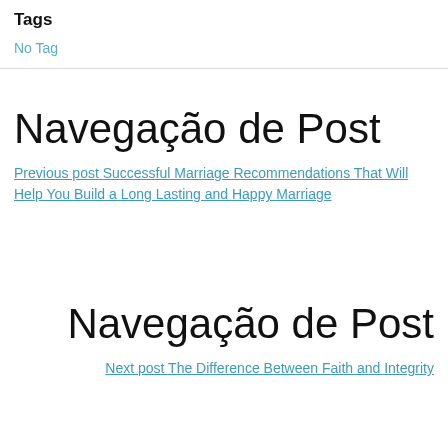Tags
No Tag
Navegação de Post
Previous post Successful Marriage Recommendations That Will Help You Build a Long Lasting and Happy Marriage
Navegação de Post
Next post The Difference Between Faith and Integrity